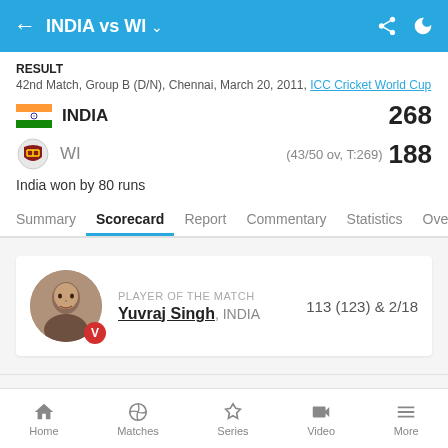INDIA vs WI
RESULT
42nd Match, Group B (D/N), Chennai, March 20, 2011, ICC Cricket World Cup
INDIA 268
WI (43/50 ov, T:269) 188
India won by 80 runs
Summary | Scorecard | Report | Commentary | Statistics | Over
PLAYER OF THE MATCH
Yuvraj Singh, INDIA
113 (123) & 2/18
Home | Matches | Series | Video | More